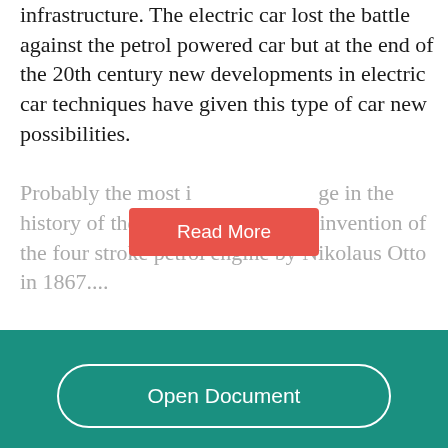infrastructure. The electric car lost the battle against the petrol powered car but at the end of the 20th century new developments in electric car techniques have given this type of car new possibilities. Probably the most important change in the history of the automobile was the invention of the four stroke petrol engine by Nikolaus Otto in 1867....
[Figure (other): Red 'Read More' button overlaid on faded text]
[Figure (other): Teal footer area with 'Open Document' button outlined in white with rounded corners]